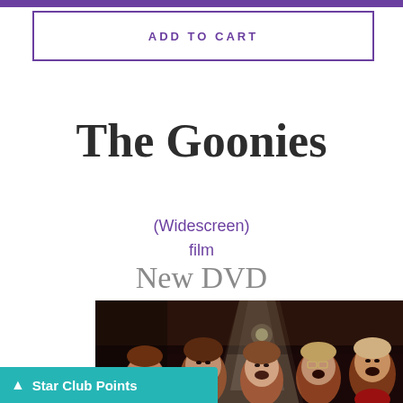ADD TO CART
The Goonies
(Widescreen)
film
New DVD
[Figure (photo): Group of children looking upward in a dramatic scene from The Goonies]
Star Club Points